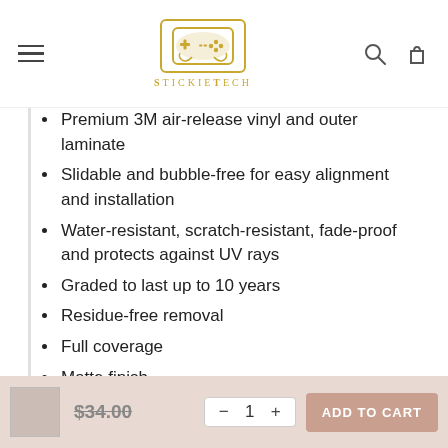StickieTech — navigation header with hamburger menu, logo, search and cart icons
Premium 3M air-release vinyl and outer laminate
Slidable and bubble-free for easy alignment and installation
Water-resistant, scratch-resistant, fade-proof and protects against UV rays
Graded to last up to 10 years
Residue-free removal
Full coverage
Matte finish
$34.00  — 1 +  ADD TO CART